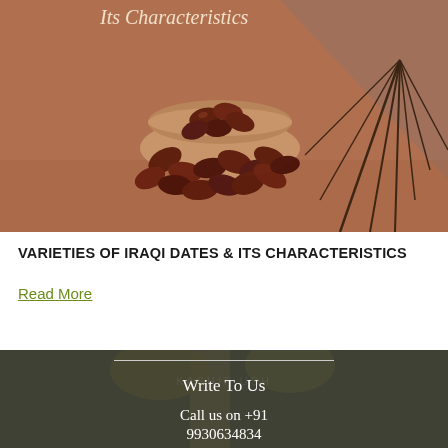[Figure (photo): Banner image showing a bowl of Iraqi dates spilling out on a brown/terracotta background with a stylized palm leaf decoration and text 'Its Characteristics']
VARIETIES OF IRAQI DATES & ITS CHARACTERISTICS
Read More
[Figure (photo): Background photo of a date palm tree with clusters of dates, overlaid with dark semi-transparent background, showing text 'Write To Us', 'Call us on +91', '9930634834']
Write To Us
Call us on +91
9930634834